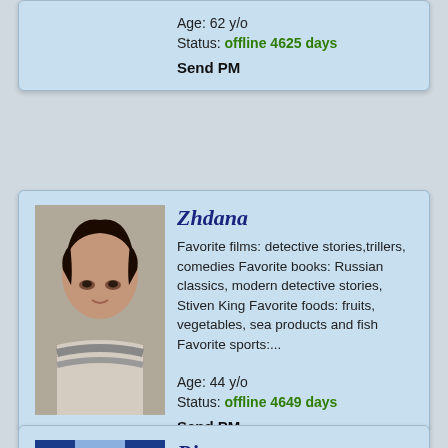Age: 62 y/o
Status: offline 4625 days
Send PM
Zhdana
Favorite films: detective stories,trillers, comedies Favorite books: Russian classics, modern detective stories, Stiven King Favorite foods: fruits, vegetables, sea products and fish Favorite sports:...
[Figure (photo): Profile photo of Zhdana, a young woman with dark hair]
Age: 44 y/o
Status: offline 4649 days
Send PM
Rimma
[Figure (photo): Profile photo of Rimma, partially visible at bottom of page]